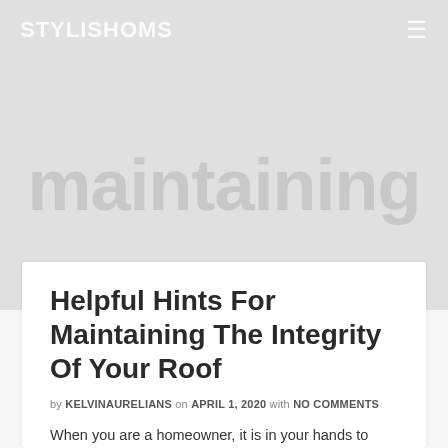STYLISHOMS
[Figure (illustration): Hero background with watermark text 'maintaining' in large light gray letters over a light gray background]
Helpful Hints For Maintaining The Integrity Of Your Roof
by KELVINAURELIANS on APRIL 1, 2020 with NO COMMENTS
When you are a homeowner, it is in your hands to take care of your home. Whether it comes to preventative